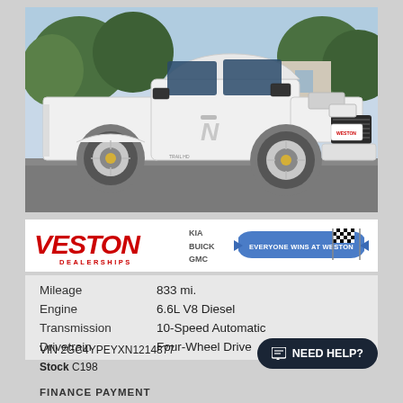[Figure (photo): White Chevrolet Silverado 2500HD heavy-duty pickup truck parked at a dealership lot, front three-quarter view, with trees and building in background. Weston Dealerships logo visible on the bumper area.]
[Figure (logo): Veston Dealerships logo in red italic bold text with DEALERSHIPS subtitle and KIA, BUICK, GMC brand names listed beside it. Blue and white 'Everyone Wins at Weston' banner with checkered flag graphic on the right.]
| Mileage | 833 mi. |
| Engine | 6.6L V8 Diesel |
| Transmission | 10-Speed Automatic |
| Drivetrain | Four-Wheel Drive |
VIN 2GC4YPEYXN1214877
Stock C198
NEED HELP?
FINANCE PAYMENT